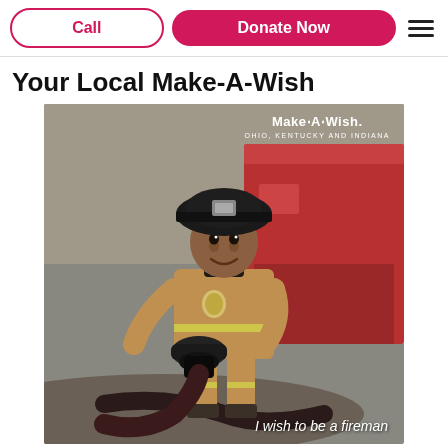Call | Donate Now
Your Local Make-A-Wish
[Figure (photo): A young child dressed in a firefighter uniform holding a fire hose nozzle, smiling at the camera. The Make-A-Wish Ohio, Kentucky and Indiana logo appears in the upper right of the photo. Caption reads 'I wish to be a fireman'.]